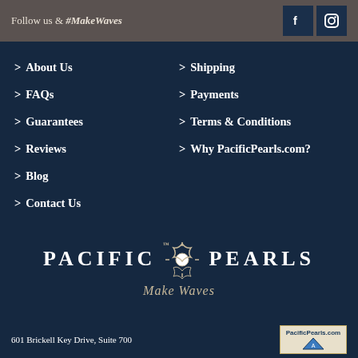Follow us & #MakeWaves
> About Us
> Shipping
> FAQs
> Payments
> Guarantees
> Terms & Conditions
> Reviews
> Why PacificPearls.com?
> Blog
> Contact Us
[Figure (logo): Pacific Pearls logo with decorative emblem and 'Make Waves' tagline]
601 Brickell Key Drive, Suite 700 | PacificPearls.com